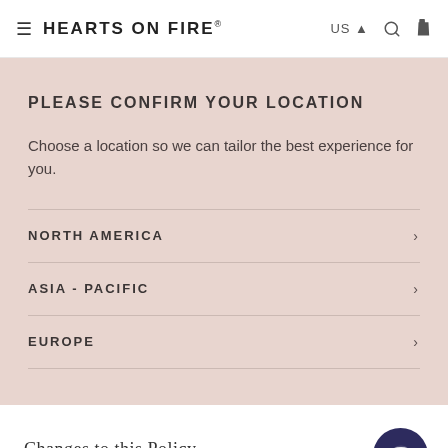≡  HEARTS ON FIRE®   US ▲  🔍  🛍
PLEASE CONFIRM YOUR LOCATION
Choose a location so we can tailor the best experience for you.
NORTH AMERICA
ASIA - PACIFIC
EUROPE
Changes to this Policy